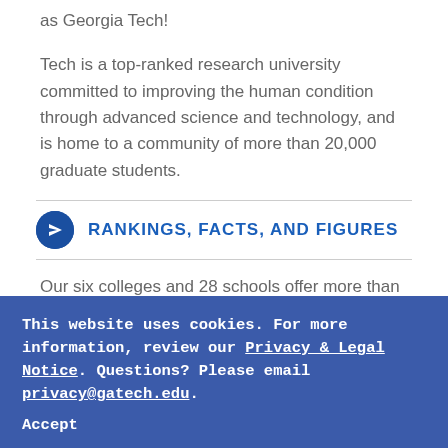as Georgia Tech!
Tech is a top-ranked research university committed to improving the human condition through advanced science and technology, and is home to a community of more than 20,000 graduate students.
RANKINGS, FACTS, AND FIGURES
Our six colleges and 28 schools offer more than 100 master's and Ph.D. programs, and dozens of interdisciplinary and certificate programs focusing on business, computing, design,
This website uses cookies. For more information, review our Privacy & Legal Notice. Questions? Please email privacy@gatech.edu.
Accept